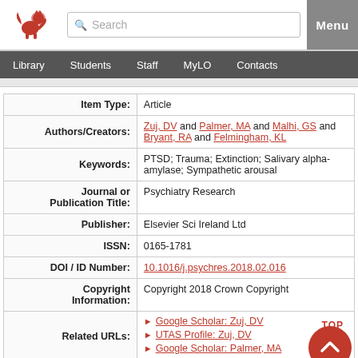[Figure (logo): Red lion crest logo of University of Tasmania]
Search | Menu | Library | Students | Staff | MyLO | Contacts
| Field | Value |
| --- | --- |
| Item Type: | Article |
| Authors/Creators: | Zuj, DV and Palmer, MA and Malhi, GS and Bryant, RA and Felmingham, KL |
| Keywords: | PTSD; Trauma; Extinction; Salivary alpha-amylase; Sympathetic arousal |
| Journal or Publication Title: | Psychiatry Research |
| Publisher: | Elsevier Sci Ireland Ltd |
| ISSN: | 0165-1781 |
| DOI / ID Number: | 10.1016/j.psychres.2018.02.016 |
| Copyright Information: | Copyright 2018 Crown Copyright |
| Related URLs: | Google Scholar: Zuj, DV | UTAS Profile: Zuj, DV | Google Scholar: Palmer, MA |